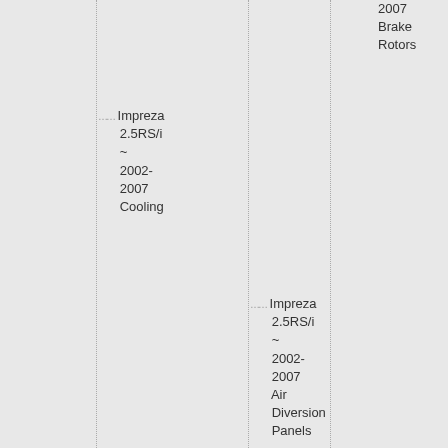2007 Brake Rotors
Impreza 2.5RS/i ~ 2002-2007 Cooling
Impreza 2.5RS/i ~ 2002-2007 Air Diversion Panels
Impreza 2.5RS/i ~ 2002-2007 Racing Thermostats
Impreza 2.5RS/i ~ 2002-2007 Radiators
Impreza 2.5RS/i